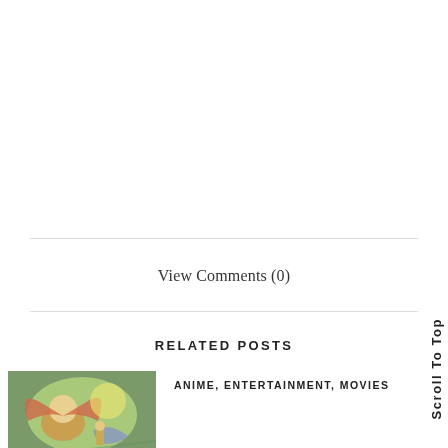View Comments (0)
RELATED POSTS
[Figure (illustration): Colorful anime/fantasy illustration thumbnail showing stylized characters]
ANIME, ENTERTAINMENT, MOVIES
Scroll To Top